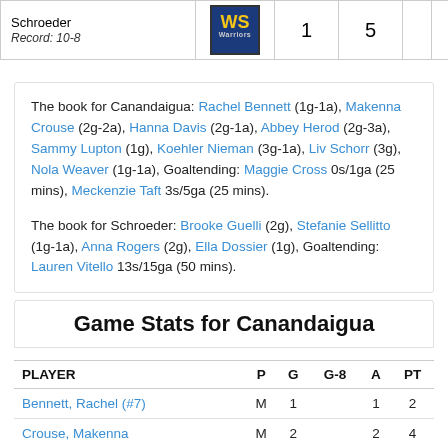| Team | Logo | 1 | 5 | 6 |
| --- | --- | --- | --- | --- |
| Schroeder
Record: 10-8 | WS Warriors | 1 | 5 | 6 |
The book for Canandaigua: Rachel Bennett (1g-1a), Makenna Crouse (2g-2a), Hanna Davis (2g-1a), Abbey Herod (2g-3a), Sammy Lupton (1g), Koehler Nieman (3g-1a), Liv Schorr (3g), Nola Weaver (1g-1a), Goaltending: Maggie Cross 0s/1ga (25 mins), Meckenzie Taft 3s/5ga (25 mins).

The book for Schroeder: Brooke Guelli (2g), Stefanie Sellitto (1g-1a), Anna Rogers (2g), Ella Dossier (1g), Goaltending: Lauren Vitello 13s/15ga (50 mins).
Game Stats for Canandaigua
| PLAYER | P | G | G-8 | A | PT |
| --- | --- | --- | --- | --- | --- |
| Bennett, Rachel (#7) | M | 1 |  | 1 | 2 |
| Crouse, Makenna | M | 2 |  | 2 | 4 |